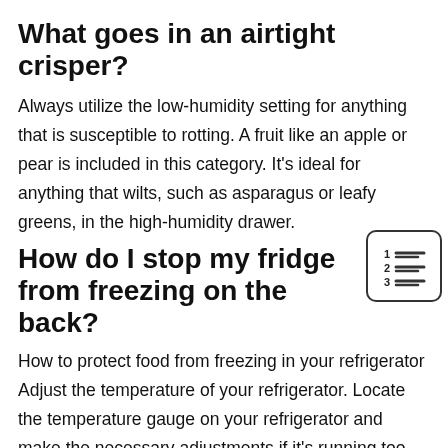What goes in an airtight crisper?
Always utilize the low-humidity setting for anything that is susceptible to rotting. A fruit like an apple or pear is included in this category. It's ideal for anything that wilts, such as asparagus or leafy greens, in the high-humidity drawer.
[Figure (illustration): A small icon of a numbered list (1, 2, 3) with horizontal lines next to each number, enclosed in a rounded rectangle border.]
How do I stop my fridge from freezing on the back?
How to protect food from freezing in your refrigerator Adjust the temperature of your refrigerator. Locate the temperature gauge on your refrigerator and make the necessary adjustments if it's running too chilly. Organize your